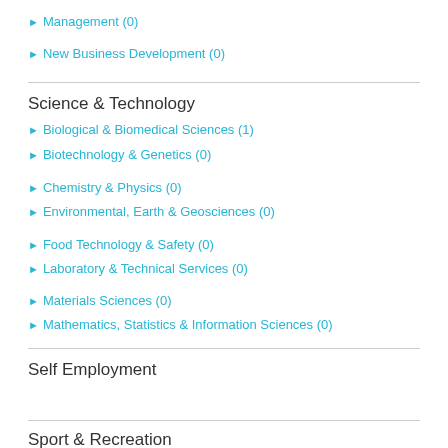Management (0)
New Business Development (0)
Science & Technology
Biological & Biomedical Sciences (1)
Biotechnology & Genetics (0)
Chemistry & Physics (0)
Environmental, Earth & Geosciences (0)
Food Technology & Safety (0)
Laboratory & Technical Services (0)
Materials Sciences (0)
Mathematics, Statistics & Information Sciences (0)
Self Employment
Sport & Recreation